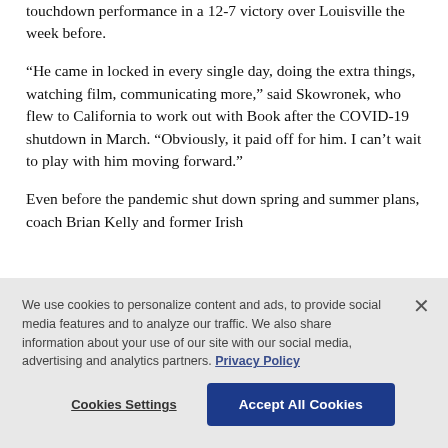touchdown performance in a 12-7 victory over Louisville the week before.
“He came in locked in every single day, doing the extra things, watching film, communicating more,” said Skowronek, who flew to California to work out with Book after the COVID-19 shutdown in March. “Obviously, it paid off for him. I can’t wait to play with him moving forward.”
Even before the pandemic shut down spring and summer plans, coach Brian Kelly and former Irish
We use cookies to personalize content and ads, to provide social media features and to analyze our traffic. We also share information about your use of our site with our social media, advertising and analytics partners. Privacy Policy
Cookies Settings | Accept All Cookies